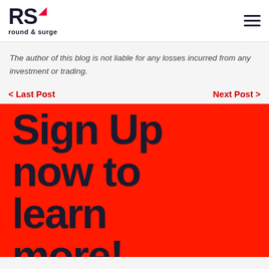RS round & surge
The author of this blog is not liable for any losses incurred from any investment or trading.
< Last Post   Next Post >
[Figure (illustration): Red banner with large dark navy bold text reading 'Sign Up now to learn more!']